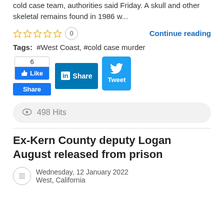cold case team, authorities said Friday. A skull and other skeletal remains found in 1986 w...
☆☆☆☆☆ 0   Continue reading
Tags: #West Coast, #cold case murder
[Figure (infographic): Social sharing buttons: Facebook Like (6) and Share, LinkedIn Share, Twitter Tweet]
498 Hits
Ex-Kern County deputy Logan August released from prison
Wednesday, 12 January 2022
West, California